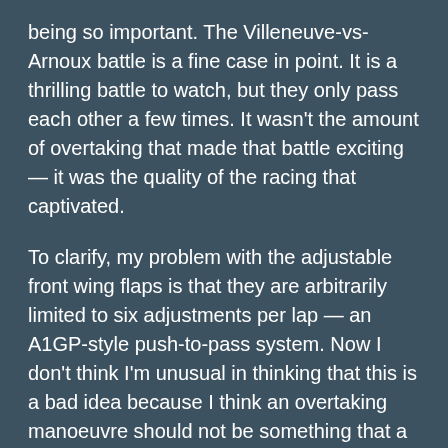being so important. The Villeneuve-vs-Arnoux battle is a fine case in point. It is a thrilling battle to watch, but they only pass each other a few times. It wasn't the amount of overtaking that made that battle exciting — it was the quality of the racing that captivated.
To clarify, my problem with the adjustable front wing flaps is that they are arbitrarily limited to six adjustments per lap — an A1GP-style push-to-pass system. Now I don't think I'm unusual in thinking that this is a bad idea because I think an overtaking manoeuvre should not be something that a driver can do literally at the touch of a button or the flick of a switch as though he were playing a video game.
Old-style adjustable aero, where there is no limit to the amount of times a driver can use it, I have no problem